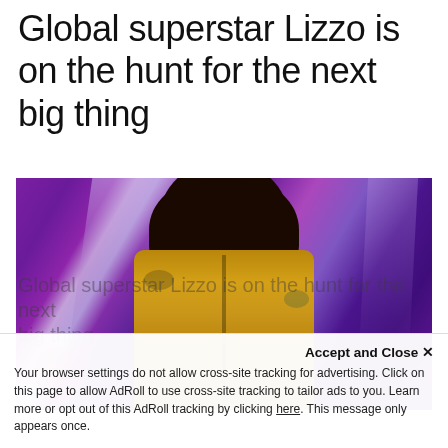Global superstar Lizzo is on the hunt for the next big thing
[Figure (photo): Photo of Lizzo wearing a gold floral dress seated in front of shiny purple/blue metallic curtain background]
Accept and Close ×
Your browser settings do not allow cross-site tracking for advertising. Click on this page to allow AdRoll to use cross-site tracking to tailor ads to you. Learn more or opt out of this AdRoll tracking by clicking here. This message only appears once.
Global superstar Lizzo is on the hunt for the next big thing